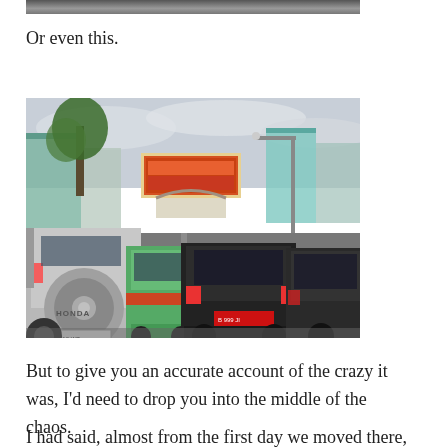[Figure (photo): Partial top edge of a photograph, dark/shadowed area visible at top of page]
Or even this.
[Figure (photo): Street traffic scene showing heavy traffic jam with multiple cars including a silver Honda CR-V with spare tire on back, a black hatchback with red license plate, green minivan, and other vehicles on a busy Indonesian street with shops, billboards, trees, and street lights in background under an overcast sky.]
But to give you an accurate account of the crazy it was, I’d need to drop you into the middle of the chaos.
I had said, almost from the first day we moved there, that I